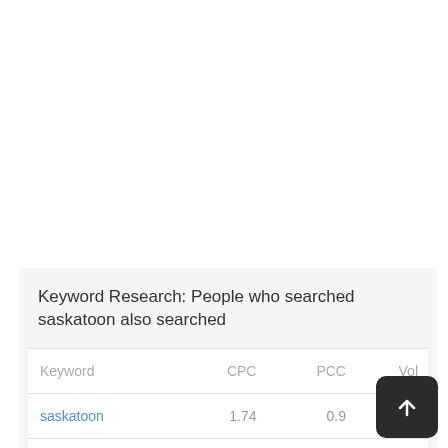Keyword Research: People who searched saskatoon also searched
| Keyword | CPC | PCC | Vol |
| --- | --- | --- | --- |
| saskatoon | 1.74 | 0.9 |  |